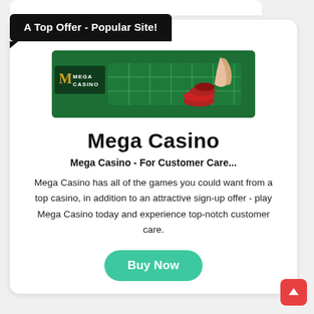A Top Offer - Popular Site!
[Figure (photo): Mega Casino banner image showing a roulette/casino table with casino chips and a hand, with the Mega Casino logo (gold M and text) on a dark/green background.]
Mega Casino
Mega Casino - For Customer Care...
Mega Casino has all of the games you could want from a top casino, in addition to an attractive sign-up offer - play Mega Casino today and experience top-notch customer care.
Buy Now